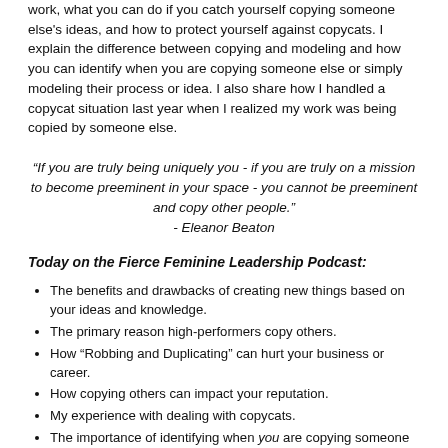work, what you can do if you catch yourself copying someone else's ideas, and how to protect yourself against copycats. I explain the difference between copying and modeling and how you can identify when you are copying someone else or simply modeling their process or idea. I also share how I handled a copycat situation last year when I realized my work was being copied by someone else.
“If you are truly being uniquely you - if you are truly on a mission to become preeminent in your space - you cannot be preeminent and copy other people.” - Eleanor Beaton
Today on the Fierce Feminine Leadership Podcast:
The benefits and drawbacks of creating new things based on your ideas and knowledge.
The primary reason high-performers copy others.
How “Robbing and Duplicating” can hurt your business or career.
How copying others can impact your reputation.
My experience with dealing with copycats.
The importance of identifying when you are copying someone else.
The importance of identifying why you are copying someone.
The difference between copying and modeling.